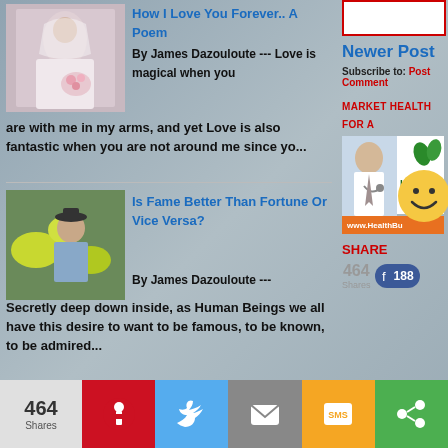[Figure (photo): Wedding couple photo thumbnail]
How I Love You Forever.. A Poem
By James Dazouloute --- Love is magical when you are with me in my arms, and yet Love is also fantastic when you are not around me since yo...
[Figure (photo): Man with fish/nature photo thumbnail]
Is Fame Better Than Fortune Or Vice Versa?
By James Dazouloute --- Secretly deep down inside, as Human Beings we all have this desire to want to be famous, to be known, to be admired...
SEARCH THE INTERNET
[Figure (screenshot): Search bar with purple/magenta background]
Newer Post
Subscribe to: Post Comment
MARKET HEALTH FOR A
[Figure (photo): Health advertisement with doctor and Health logo, www.HealthBu URL]
SHARE
464 Shares
188
[Figure (illustration): Smiley face emoji yellow circle]
464 Shares
Pinterest share button
Twitter share button
Email share button
SMS share button
Share button